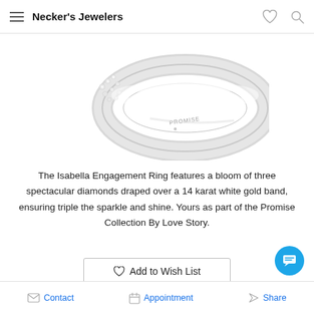Necker's Jewelers
[Figure (photo): Close-up photo of a diamond ring with 'PROMISE' engraved on the white gold band, shown at an angle with diamonds visible on one side.]
The Isabella Engagement Ring features a bloom of three spectacular diamonds draped over a 14 karat white gold band, ensuring triple the sparkle and shine. Yours as part of the Promise Collection By Love Story.
Add to Wish List
Contact   Appointment   Share